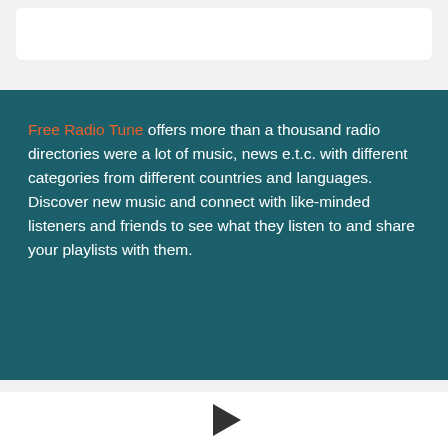[Figure (other): White rounded card at top of page (empty/partial)]
Free Radio Tune offers more than a thousand radio directories were a lot of music, news e.t.c. with different categories from different countries and languages. Discover new music and connect with like-minded listeners and friends to see what they listen to and share your playlists with them.
[Figure (logo): CAT COUNTRY 98.1 radio station logo with teal background and cat graphic]
CAT COUNTRY 98.1 WCTK FM
[Figure (other): Play button triangle icon]